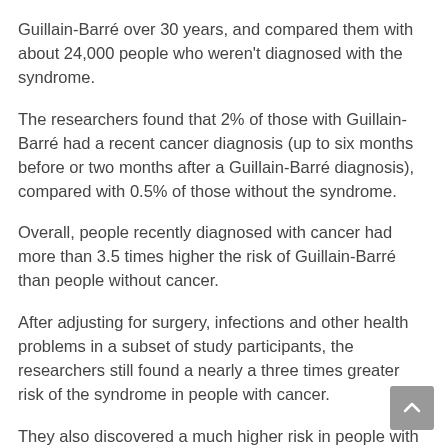Guillain-Barré over 30 years, and compared them with about 24,000 people who weren't diagnosed with the syndrome.
The researchers found that 2% of those with Guillain-Barré had a recent cancer diagnosis (up to six months before or two months after a Guillain-Barré diagnosis), compared with 0.5% of those without the syndrome.
Overall, people recently diagnosed with cancer had more than 3.5 times higher the risk of Guillain-Barré than people without cancer.
After adjusting for surgery, infections and other health problems in a subset of study participants, the researchers still found a nearly a three times greater risk of the syndrome in people with cancer.
They also discovered a much higher risk in people with certain cancers: seven times greater in those with